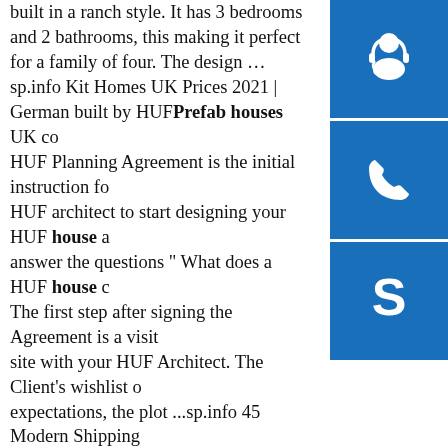built in a ranch style. It has 3 bedrooms and 2 bathrooms, this making it perfect for a family of four. The design …sp.info Kit Homes UK Prices 2021 | German built by HUFPrefab houses UK co… HUF Planning Agreement is the initial instruction fo… HUF architect to start designing your HUF house a… answer the questions " What does a HUF house c… The first step after signing the Agreement is a visit … site with your HUF Architect. The Client's wishlist o… expectations, the plot ...sp.info 45 Modern Shipping Container Homes for Every Budget40 Modern Shi… Container Homes for Every Budget. Modern ship… container homes are popular due to their versatility and affordability. Despite having a pre-made shape containers can be stacked in a lot of different ways to produce unusual forms for modern dwellings. Thanks to their low price (about 2,000 per container) they can be used to ...sp.info Robust, Modern and Easy to Install prefab pyramid houses ...High quality low cost easy assemble
[Figure (illustration): Blue square icon with white headset/customer support symbol]
[Figure (illustration): Blue square icon with white telephone/call symbol]
[Figure (illustration): Blue square icon with white Skype logo symbol]